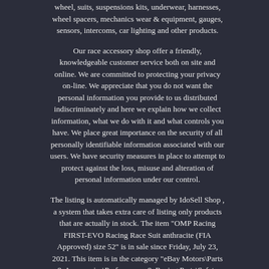wheel, suits, suspensions kits, underwear, harnesses, wheel spacers, mechanics wear & equipment, gauges, sensors, intercoms, car lighting and other products.
Our race accessory shop offer a friendly, knowledgeable customer service both on site and online. We are committed to protecting your privacy on-line. We appreciate that you do not want the personal information you provide to us distributed indiscriminately and here we explain how we collect information, what we do with it and what controls you have. We place great importance on the security of all personally identifiable information associated with our users. We have security measures in place to attempt to protect against the loss, misuse and alteration of personal information under our control.
The listing is automatically managed by IdoSell Shop , a system that takes extra care of listing only products that are actually in stock. The item "OMP Racing FIRST-EVO Racing Race Suit anthracite (FIA Approved) size 52" is in sale since Friday, July 23, 2021. This item is in the category "eBay Motors\Parts & Accessories\Performance & Racing Parts\Safety Equipment\Suits".